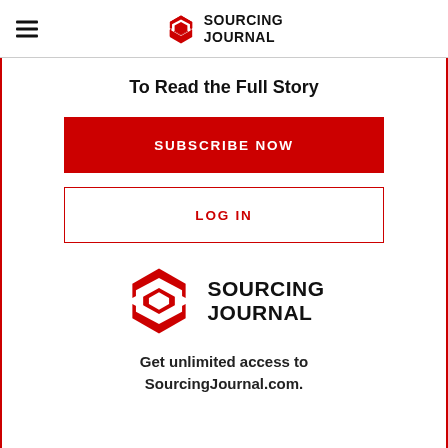SOURCING JOURNAL
To Read the Full Story
[Figure (other): Red SUBSCRIBE NOW button]
[Figure (other): LOG IN button with red border and red text]
[Figure (logo): Sourcing Journal logo — red S-shaped hexagon icon with SOURCING JOURNAL text in bold black]
Get unlimited access to SourcingJournal.com.